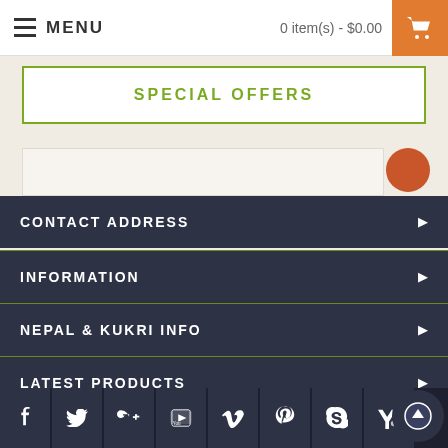MENU  0 item(s) - $0.00
SPECIAL OFFERS
CONTACT ADDRESS
INFORMATION
NEPAL & KUKRI INFO
LATEST PRODUCTS
LATEST NEWS
[Figure (other): Social media icon bar with Facebook, Twitter, Google+, YouTube, Vimeo, Pinterest, Skype, Yahoo icons]